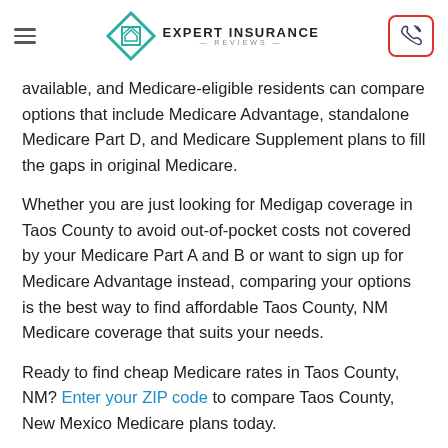Expert Insurance Reviews
available, and Medicare-eligible residents can compare options that include Medicare Advantage, standalone Medicare Part D, and Medicare Supplement plans to fill the gaps in original Medicare.
Whether you are just looking for Medigap coverage in Taos County to avoid out-of-pocket costs not covered by your Medicare Part A and B or want to sign up for Medicare Advantage instead, comparing your options is the best way to find affordable Taos County, NM Medicare coverage that suits your needs.
Ready to find cheap Medicare rates in Taos County, NM? Enter your ZIP code to compare Taos County, New Mexico Medicare plans today.